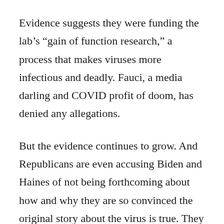Evidence suggests they were funding the lab's “gain of function research,” a process that makes viruses more infectious and deadly. Fauci, a media darling and COVID profit of doom, has denied any allegations.
But the evidence continues to grow. And Republicans are even accusing Biden and Haines of not being forthcoming about how and why they are so convinced the original story about the virus is true. They want to know why our intelligence community was so certain the start of the pandemic was the result of an accidental contact at the wet markets.